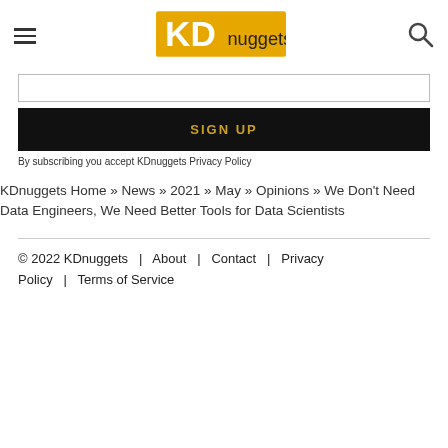KDnuggets [logo] [hamburger] [search]
[Figure (logo): KDnuggets logo — orange/gold rectangle with KD in white and nuggets in dark text]
SIGN UP
By subscribing you accept KDnuggets Privacy Policy
KDnuggets Home » News » 2021 » May » Opinions » We Don't Need Data Engineers, We Need Better Tools for Data Scientists
© 2022 KDnuggets   |   About   |   Contact   |   Privacy Policy   |   Terms of Service